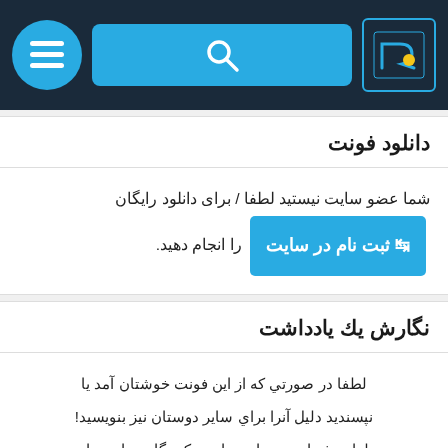[Figure (screenshot): Mobile app navigation bar with hamburger menu button, search bar with magnifying glass icon, and logo icon on dark navy background]
دانلود فونت
شما عضو سایت نیستید لطفا / برای دانلود رایگان ثبت نام در سایت را انجام دهید.
نگارش یك یادداشت
لطفا در صورتي که از این فونت خوشتان آمد یا نپسندید دلیل آنرا براي سایر دوستان نیز بنویسید! نظرات شما ، دوستان و بازدید کنندگان سایت را در انتخاب فونت خوب یاري می کند.